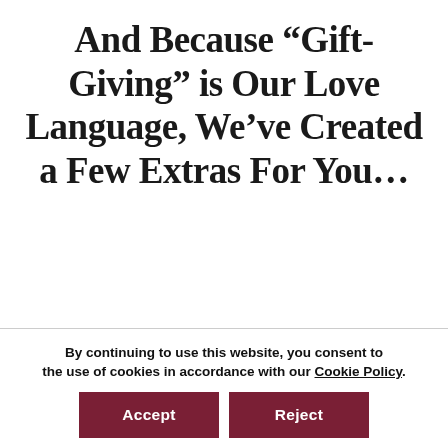And Because “Gift-Giving” is Our Love Language, We’ve Created a Few Extras For You…
[Figure (photo): Partial view of recipe cards, including one labeled 'Deep Green Guacamole']
By continuing to use this website, you consent to the use of cookies in accordance with our Cookie Policy.
Accept
Reject